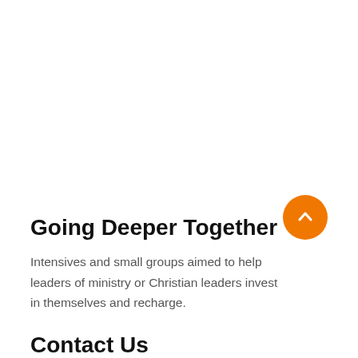Going Deeper Together
Intensives and small groups aimed to help leaders of ministry or Christian leaders invest in themselves and recharge.
[Figure (other): Orange circular scroll-to-top button with a white upward chevron arrow]
Contact Us